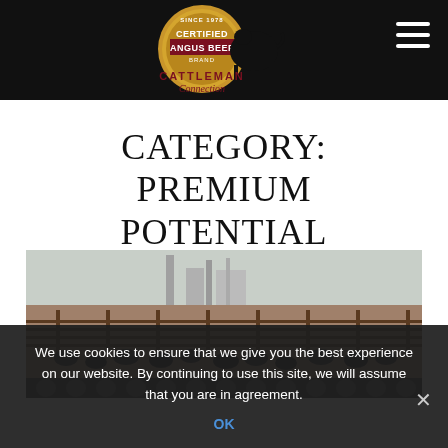Certified Angus Beef Cattleman Connection
CATEGORY: PREMIUM POTENTIAL
[Figure (photo): Aerial/wide view of a cattle feedlot with numerous black Angus cattle in pens, with industrial structures visible in the background.]
We use cookies to ensure that we give you the best experience on our website. By continuing to use this site, we will assume that you are in agreement.
OK